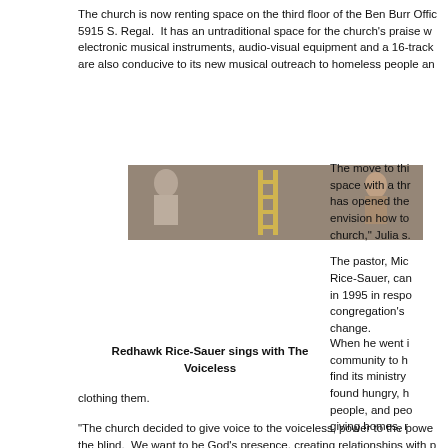The church is now renting space on the third floor of the Ben Burr Office building at 5915 S. Regal.  It has an untraditional space for the church's praise worship — electronic musical instruments, audio-visual equipment and a 16-track are also conducive to its new musical outreach to homeless people an
[Figure (photo): Photograph showing people, possibly church members or musicians, in an outdoor or construction setting]
The move to this space with a thr has opened the envision how to church," Julia s.
The pastor, Mic Rice-Sauer, can in 1995 in respo congregation's change.
When he went i community to h find its ministry found hungry, h people, and peo giving homes, r
Redhawk Rice-Sauer sings with The Voiceless
clothing them.
“The church decided to give voice to the voiceless, power to the powe the blind.  We want to be God’s presence, creating relationships with p he said.